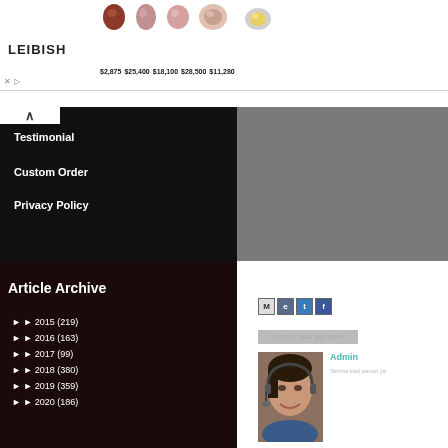[Figure (screenshot): LEIBISH jewelry ad banner showing 5 gem/ring photos with prices: $2,875, $25,400, $18,100, $28,500, $11,280]
Testimonial
Custom Order
Privacy Policy
Article Archive
► 2015 (219)
► 2016 (163)
► 2017 (99)
► 2018 (380)
► 2019 (359)
► 2020 (186)
[Figure (screenshot): Social share icons: M (email), e (bookmark), t (tweet), f (facebook)]
ABOUT THE AUTHOR
[Figure (photo): Photo of a woman with headset smiling, the author/admin]
Admin
Terima kasi pesan ya